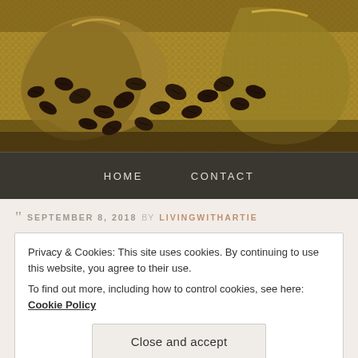[Figure (photo): Coffee beans spilling out of burlap sacks on a burlap surface — header image for a blog]
HOME   CONTACT
" SEPTEMBER 8, 2018 BY LIVINGWITHARTIE
Privacy & Cookies: This site uses cookies. By continuing to use this website, you agree to their use.
To find out more, including how to control cookies, see here: Cookie Policy
[Close and accept]
my left knee and my hip. I was probably a mile